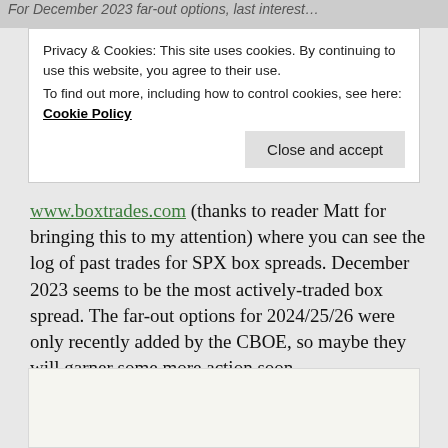For December 2023 far-out options, last interest...
Privacy & Cookies: This site uses cookies. By continuing to use this website, you agree to their use.
To find out more, including how to control cookies, see here: Cookie Policy
Close and accept
www.boxtrades.com (thanks to reader Matt for bringing this to my attention) where you can see the log of past trades for SPX box spreads. December 2023 seems to be the most actively-traded box spread. The far-out options for 2024/25/26 were only recently added by the CBOE, so maybe they will garner some more action soon.
[Figure (other): Partial image or content block visible at the bottom of the page, light gray background]